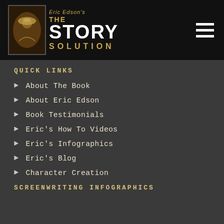Eric Edson's THE STORY SOLUTION
QUICK LINKS
About The Book
About Eric Edson
Book Testimonials
Eric's How To Videos
Eric's Infographics
Eric's Blog
Character Creation
SCREENWRITING INFOGRAPHICS